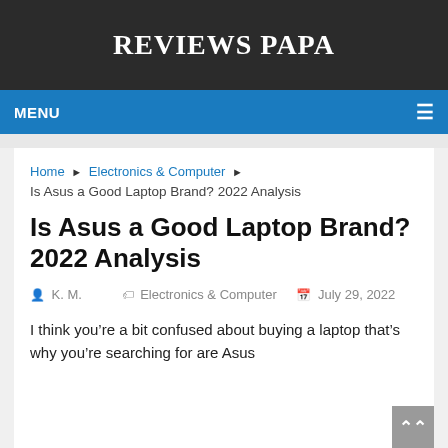REVIEWS PAPA
MENU ≡
Home ▶ Electronics & Computer ▶ Is Asus a Good Laptop Brand? 2022 Analysis
Is Asus a Good Laptop Brand? 2022 Analysis
K. M.  Electronics & Computer  July 29, 2022
I think you're a bit confused about buying a laptop that's why you're searching for are Asus